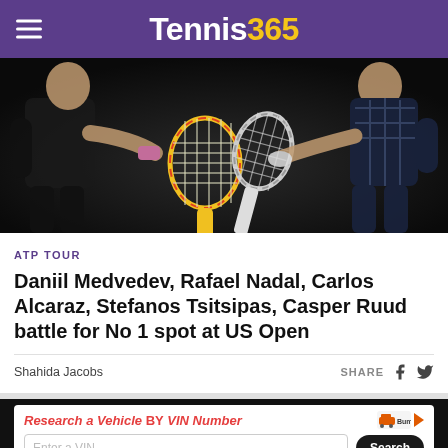Tennis365
[Figure (photo): Two tennis players facing each other holding rackets, photographed against a dark background. One player on the left wears dark clothing with pink wristband, the other on the right wears a dark patterned shirt.]
ATP TOUR
Daniil Medvedev, Rafael Nadal, Carlos Alcaraz, Stefanos Tsitsipas, Casper Ruud battle for No 1 spot at US Open
Shahida Jacobs
[Figure (screenshot): Advertisement banner: Research a Vehicle BY VIN Number - Bump logo. Contains an input field 'Enter a VIN' and a Search button.]